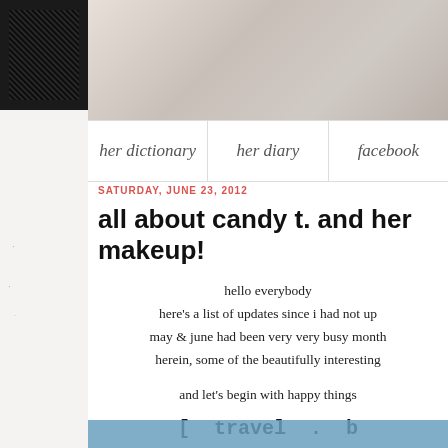[Figure (photo): Top banner photo of a bedroom/interior scene in sepia/grey tones, partially visible]
her dictionary | her diary | facebook
SATURDAY, JUNE 23, 2012
all about candy t. and her makeup!
hello everybody
here’s a list of updates since i had not up
may & june had been very very busy month
herein, some of the beautifully interesting
and let’s begin with happy things
[ travel . b
[Figure (screenshot): Bottom partial image strip with blue/teal color]